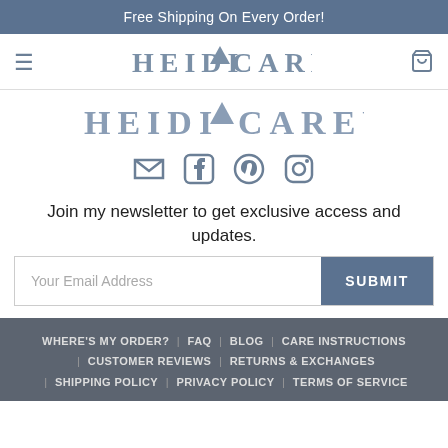Free Shipping On Every Order!
[Figure (logo): Heidi V Carey brand logo in navigation bar with hamburger menu icon and shopping bag icon]
[Figure (logo): Heidi V Carey secondary brand logo centered below navigation]
[Figure (infographic): Social media icons: email, Facebook, Pinterest, Instagram]
Join my newsletter to get exclusive access and updates.
Your Email Address  SUBMIT
WHERE'S MY ORDER? | FAQ | BLOG | CARE INSTRUCTIONS | CUSTOMER REVIEWS | RETURNS & EXCHANGES | SHIPPING POLICY | PRIVACY POLICY | TERMS OF SERVICE